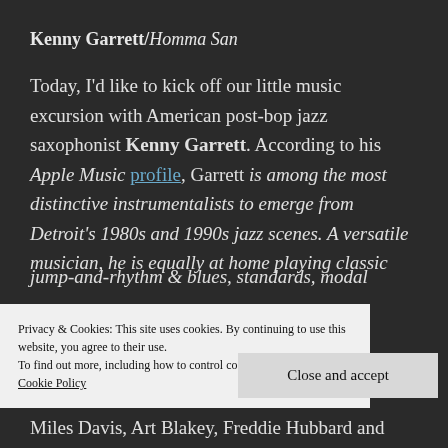Kenny Garrett/Homma San
Today, I'd like to kick off our little music excursion with American post-bop jazz saxophonist Kenny Garrett. According to his Apple Music profile, Garrett is among the most distinctive instrumentalists to emerge from Detroit's 1980s and 1990s jazz scenes. A versatile musician, he is equally at home playing classic jump-and-rhythm & blues, standards, modal
Privacy & Cookies: This site uses cookies. By continuing to use this website, you agree to their use.
To find out more, including how to control cookies, see here:
Cookie Policy
Close and accept
Miles Davis, Art Blakey, Freddie Hubbard and